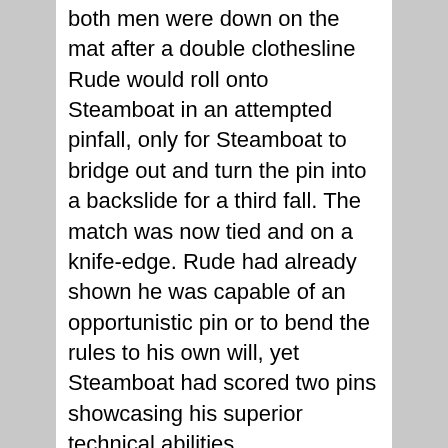both men were down on the mat after a double clothesline Rude would roll onto Steamboat in an attempted pinfall, only for Steamboat to bridge out and turn the pin into a backslide for a third fall. The match was now tied and on a knife-edge. Rude had already shown he was capable of an opportunistic pin or to bend the rules to his own will, yet Steamboat had scored two pins showcasing his superior technical abilities.
Which would win out come the final bell?
Both had chances to put the match to bed